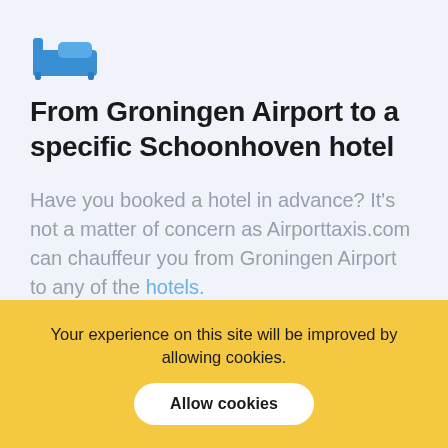[Figure (illustration): Blue hotel/bed icon — a stylized bed with pillow in blue color]
From Groningen Airport to a specific Schoonhoven hotel
Have you booked a hotel in advance? It's not a matter of concern as Airporttaxis.com can chauffeur you from Groningen Airport to any of the hotels.
Your experience on this site will be improved by allowing cookies.
Allow cookies